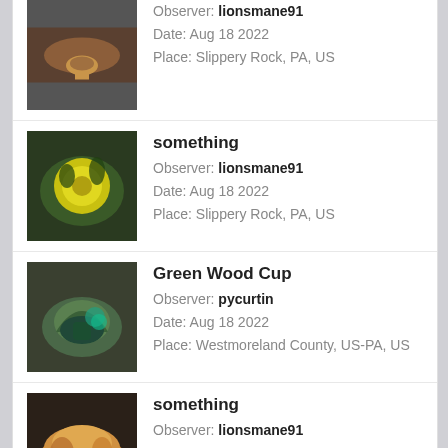Observer: lionsmane91
Date: Aug 18 2022
Place: Slippery Rock, PA, US
something
Observer: lionsmane91
Date: Aug 18 2022
Place: Slippery Rock, PA, US
Green Wood Cup
Observer: pycurtin
Date: Aug 18 2022
Place: Westmoreland County, US-PA, US
something
Observer: lionsmane91
Date: Aug 18 2022
Place: Slippery Rock, PA, US
View more observations from WPMC Western Pennsylvania Fungi on iNaturalist.org »